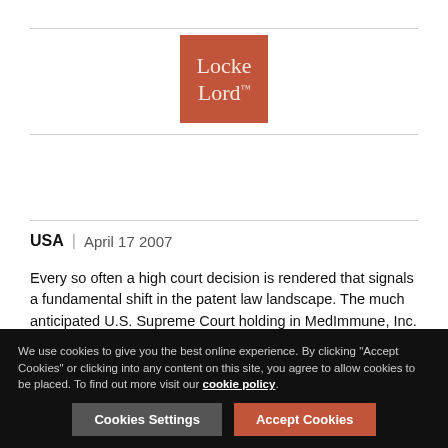[Figure (logo): Locke Lord law firm logo — terracotta/burnt-orange square with white serif text reading 'Locke Lord']
USA | April 17 2007
Every so often a high court decision is rendered that signals a fundamental shift in the patent law landscape. The much anticipated U.S. Supreme Court holding in MedImmune, Inc. v. Genentech, Inc., et al. may very well herald such a shift. Prior to the MedImmune decision, the U.S. Court of Appeals for the Federal Circuit had consistently found that a patent licensee
We use cookies to give you the best online experience. By clicking "Accept Cookies" or clicking into any content on this site, you agree to allow cookies to be placed. To find out more visit our cookie policy.